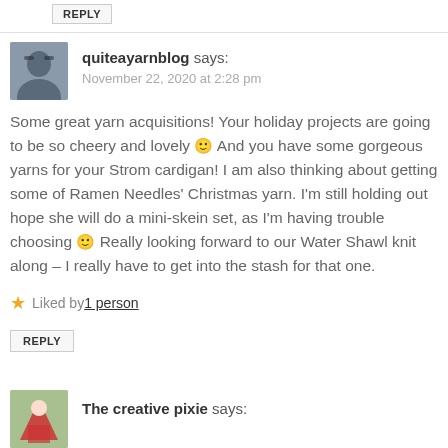REPLY
quiteayarnblog says:
November 22, 2020 at 2:28 pm
Some great yarn acquisitions! Your holiday projects are going to be so cheery and lovely 🙂 And you have some gorgeous yarns for your Strom cardigan! I am also thinking about getting some of Ramen Needles' Christmas yarn. I'm still holding out hope she will do a mini-skein set, as I'm having trouble choosing 🙂 Really looking forward to our Water Shawl knit along – I really have to get into the stash for that one.
Liked by 1 person
REPLY
The creative pixie says: